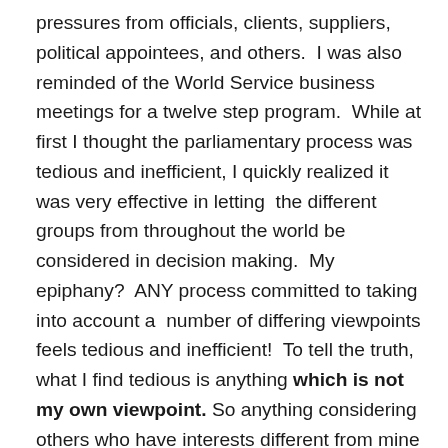pressures from officials, clients, suppliers, political appointees, and others.  I was also reminded of the World Service business meetings for a twelve step program.  While at first I thought the parliamentary process was tedious and inefficient, I quickly realized it was very effective in letting  the different groups from throughout the world be considered in decision making.  My epiphany?  ANY process committed to taking into account a  number of differing viewpoints feels tedious and inefficient!  To tell the truth, what I find tedious is anything which is not my own viewpoint. So anything considering others who have interests different from mine is going to feel like it drags.  As Plato said, “Democracy is a charming form of government, full of variety and disorder, and dispensing a sort of equality to equals and unequal alike.”  Let’s hear it for disorder, tedium and inefficiency!!!